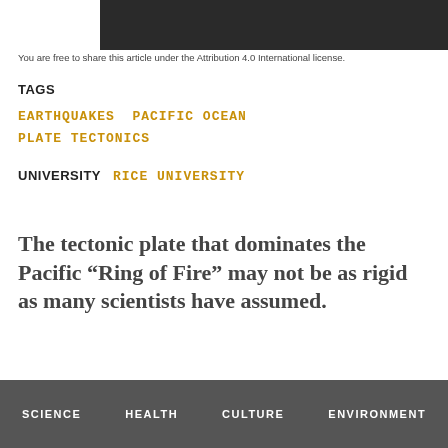[Figure (photo): Dark banner/image at the top of the page]
You are free to share this article under the Attribution 4.0 International license.
TAGS
EARTHQUAKES  PACIFIC OCEAN
PLATE TECTONICS
UNIVERSITY    RICE UNIVERSITY
The tectonic plate that dominates the Pacific “Ring of Fire” may not be as rigid as many scientists have assumed.
SCIENCE    HEALTH    CULTURE    ENVIRONMENT